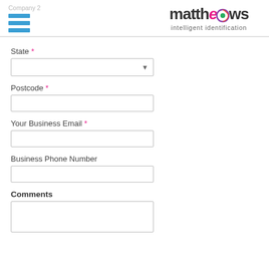matthews intelligent identification
State *
Postcode *
Your Business Email *
Business Phone Number
Comments